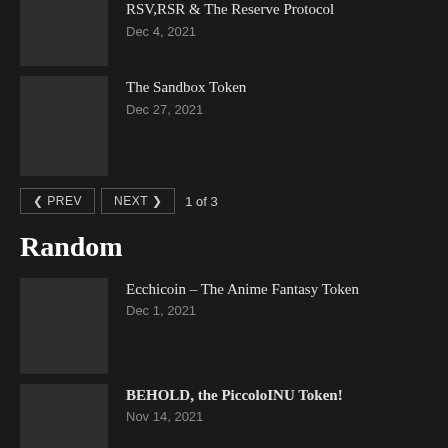RSV,RSR & The Reserve Protocol
Dec 4, 2021
The Sandbox Token
Dec 27, 2021
PREV  NEXT  1 of 3
Random
Ecchicoin – The Anime Fantasy Token
Dec 1, 2021
BEHOLD, the PiccoloINU Token!
Nov 14, 2021
The Baby Shark Inu Token!